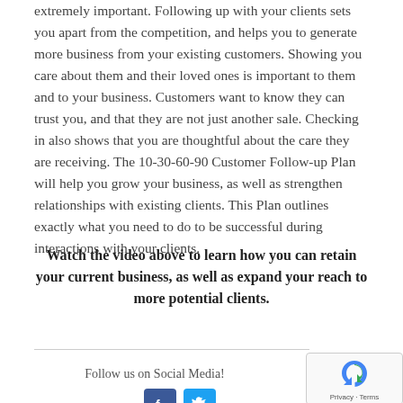extremely important. Following up with your clients sets you apart from the competition, and helps you to generate more business from your existing customers. Showing you care about them and their loved ones is important to them and to your business. Customers want to know they can trust you, and that they are not just another sale. Checking in also shows that you are thoughtful about the care they are receiving. The 10-30-60-90 Customer Follow-up Plan will help you grow your business, as well as strengthen relationships with existing clients. This Plan outlines exactly what you need to do to be successful during interactions with your clients.
Watch the video above to learn how you can retain your current business, as well as expand your reach to more potential clients.
Follow us on Social Media!